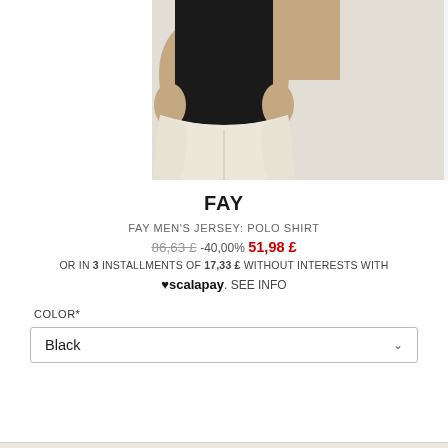[Figure (photo): Cropped product photo showing a person wearing a black polo shirt tucked into off-white/cream trousers, from torso to mid-thigh level.]
FAY
FAY MEN'S JERSEY: POLO SHIRT
86,63 £ -40,00% 51,98 £
OR IN 3 INSTALLMENTS OF 17,33 £ WITHOUT INTERESTS WITH
♥ scalapay. SEE INFO
COLOR*
Black